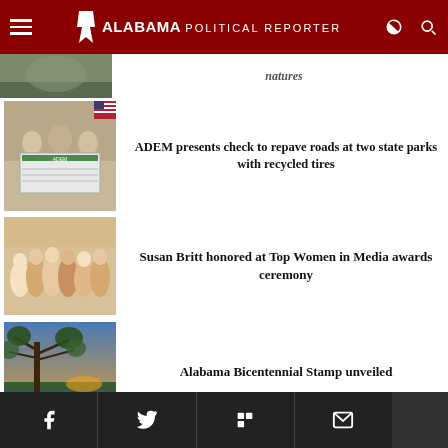Alabama Political Reporter
[Figure (photo): Partial news item image at top, partially visible]
natures (partially visible headline)
[Figure (photo): People presenting a large check from ADEM]
ADEM presents check to repave roads at two state parks with recycled tires
[Figure (photo): Group of people at Top Women in Media awards ceremony]
Susan Britt honored at Top Women in Media awards ceremony
[Figure (photo): Alabama Bicentennial Stamp - landscape painting with tree]
Alabama Bicentennial Stamp unveiled
Social sharing bar: Facebook, Twitter, Flipboard, Email